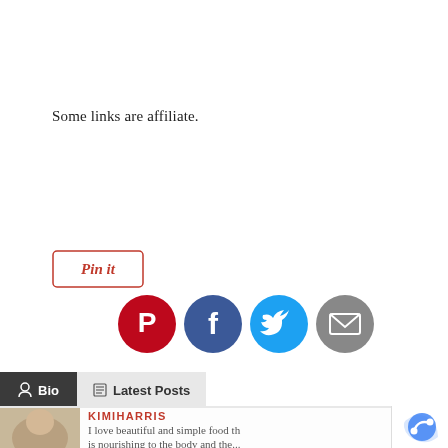Some links are affiliate.
[Figure (screenshot): Pin it button with red border and italic script text]
[Figure (screenshot): Row of four social media share icons: Pinterest (red circle with P logo), Facebook (dark blue circle with f logo), Twitter (blue circle with bird logo), Email (grey circle with envelope icon)]
[Figure (screenshot): Tab bar with Bio tab (dark background, white text, user icon) and Latest Posts tab (light grey background, dark text, list icon)]
[Figure (screenshot): Author section showing a partial photo, KIMIHARRIS name in red uppercase, and partial bio text: I love beautiful and simple food th... is nourishing to the body and the...]